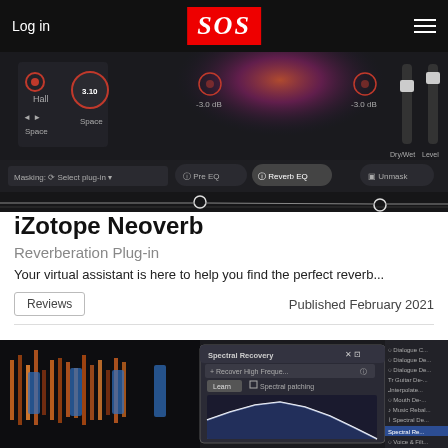Log in | SOS | Menu
[Figure (screenshot): iZotope Neoverb plugin interface showing Hall reverb with 3.10 Space setting, Pre EQ and Reverb EQ tabs, Masking select plugin, Unmask button, Dry/Wet and Level sliders]
iZotope Neoverb
Reverberation Plug-in
Your virtual assistant is here to help you find the perfect reverb...
Reviews
Published February 2021
[Figure (screenshot): iZotope RX Spectral Recovery plugin interface showing waveform spectrogram on left, Spectral Recovery dialog in center with Recover High Freque option, Learn button, Spectral patching checkbox, and a frequency curve graph, plus module list on right]